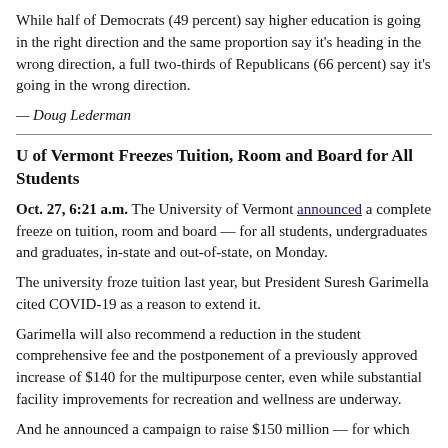While half of Democrats (49 percent) say higher education is going in the right direction and the same proportion say it's heading in the wrong direction, a full two-thirds of Republicans (66 percent) say it's going in the wrong direction.
— Doug Lederman
U of Vermont Freezes Tuition, Room and Board for All Students
Oct. 27, 6:21 a.m. The University of Vermont announced a complete freeze on tuition, room and board — for all students, undergraduates and graduates, in-state and out-of-state, on Monday.
The university froze tuition last year, but President Suresh Garimella cited COVID-19 as a reason to extend it.
Garimella will also recommend a reduction in the student comprehensive fee and the postponement of a previously approved increase of $140 for the multipurpose center, even while substantial facility improvements for recreation and wellness are underway.
And he announced a campaign to raise $150 million — for which